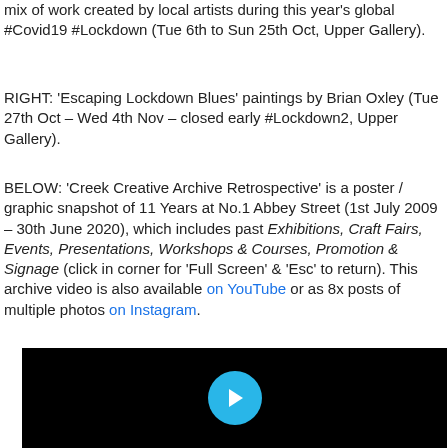mix of work created by local artists during this year's global #Covid19 #Lockdown (Tue 6th to Sun 25th Oct, Upper Gallery).
RIGHT: 'Escaping Lockdown Blues' paintings by Brian Oxley (Tue 27th Oct – Wed 4th Nov – closed early #Lockdown2, Upper Gallery).
BELOW: 'Creek Creative Archive Retrospective' is a poster / graphic snapshot of 11 Years at No.1 Abbey Street (1st July 2009 – 30th June 2020), which includes past Exhibitions, Craft Fairs, Events, Presentations, Workshops & Courses, Promotion & Signage (click in corner for 'Full Screen' & 'Esc' to return). This archive video is also available on YouTube or as 8x posts of multiple photos on Instagram.
[Figure (screenshot): Video player with black background and a cyan play button in the center]